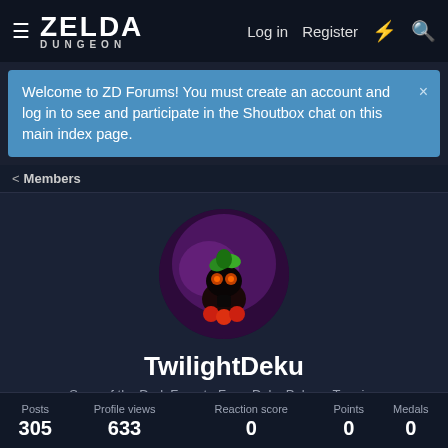ZELDA DUNGEON  Log in  Register
Welcome to ZD Forums! You must create an account and log in to see and participate in the Shoutbox chat on this main index page.
< Members
[Figure (photo): Circular avatar image of TwilightDeku showing a dark fantasy character (Deku Scrub from Zelda) on a purple background]
TwilightDeku
Sage of the Dark Forest · From Deku Palace, Termina
Joined: Mar 3, 2012
Last seen: Mar 30, 2013
| Posts | Profile views | Reaction score | Points | Medals |
| --- | --- | --- | --- | --- |
| 305 | 633 | 0 | 0 | 0 |